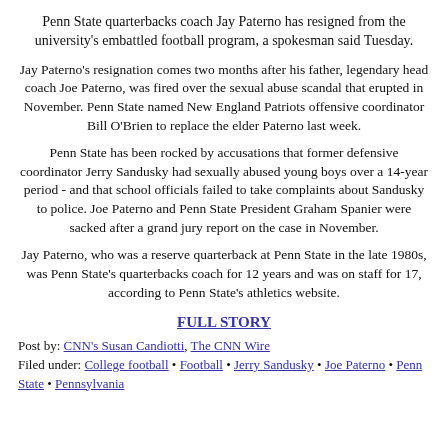Penn State quarterbacks coach Jay Paterno has resigned from the university's embattled football program, a spokesman said Tuesday.
Jay Paterno's resignation comes two months after his father, legendary head coach Joe Paterno, was fired over the sexual abuse scandal that erupted in November. Penn State named New England Patriots offensive coordinator Bill O'Brien to replace the elder Paterno last week.
Penn State has been rocked by accusations that former defensive coordinator Jerry Sandusky had sexually abused young boys over a 14-year period - and that school officials failed to take complaints about Sandusky to police. Joe Paterno and Penn State President Graham Spanier were sacked after a grand jury report on the case in November.
Jay Paterno, who was a reserve quarterback at Penn State in the late 1980s, was Penn State's quarterbacks coach for 12 years and was on staff for 17, according to Penn State's athletics website.
FULL STORY
Post by: CNN's Susan Candiotti, The CNN Wire
Filed under: College football • Football • Jerry Sandusky • Joe Paterno • Penn State • Pennsylvania